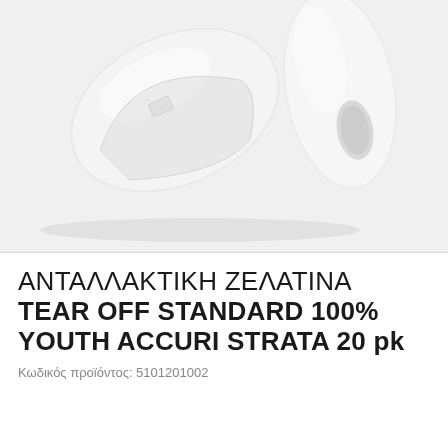[Figure (photo): Product photo of transparent/white tear-off lens film sheets on a light gray background]
ΑΝΤΑΛΛΑΚΤΙΚΗ ΖΕΛΑΤΙΝΑ TEAR OFF STANDARD 100% YOUTH ACCURI STRATA 20 pk
Κωδικός προϊόντος: 5101201002